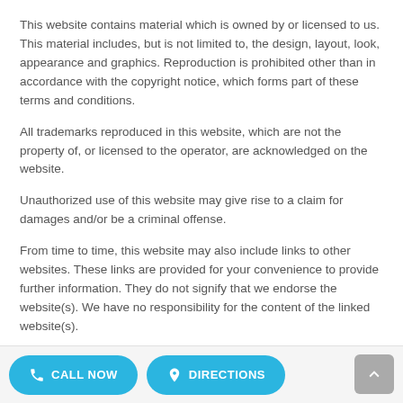This website contains material which is owned by or licensed to us. This material includes, but is not limited to, the design, layout, look, appearance and graphics. Reproduction is prohibited other than in accordance with the copyright notice, which forms part of these terms and conditions.
All trademarks reproduced in this website, which are not the property of, or licensed to the operator, are acknowledged on the website.
Unauthorized use of this website may give rise to a claim for damages and/or be a criminal offense.
From time to time, this website may also include links to other websites. These links are provided for your convenience to provide further information. They do not signify that we endorse the website(s). We have no responsibility for the content of the linked website(s).
CALL NOW   DIRECTIONS